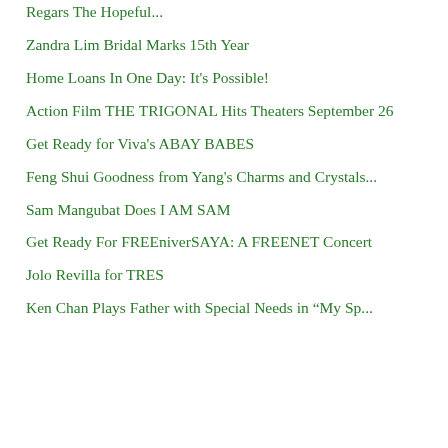Regars The Hopeful...
Zandra Lim Bridal Marks 15th Year
Home Loans In One Day: It's Possible!
Action Film THE TRIGONAL Hits Theaters September 26
Get Ready for Viva's ABAY BABES
Feng Shui Goodness from Yang's Charms and Crystals...
Sam Mangubat Does I AM SAM
Get Ready For FREEniverSAYA: A FREENET Concert
Jolo Revilla for TRES
Ken Chan Plays Father with Special Needs in “My Sp...